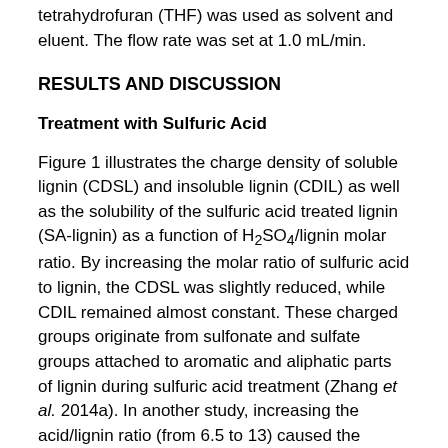tetrahydrofuran (THF) was used as solvent and eluent. The flow rate was set at 1.0 mL/min.
RESULTS AND DISCUSSION
Treatment with Sulfuric Acid
Figure 1 illustrates the charge density of soluble lignin (CDSL) and insoluble lignin (CDIL) as well as the solubility of the sulfuric acid treated lignin (SA-lignin) as a function of H₂SO₄/lignin molar ratio. By increasing the molar ratio of sulfuric acid to lignin, the CDSL was slightly reduced, while CDIL remained almost constant. These charged groups originate from sulfonate and sulfate groups attached to aromatic and aliphatic parts of lignin during sulfuric acid treatment (Zhang et al. 2014a). In another study, increasing the acid/lignin ratio (from 6.5 to 13) caused the sulfonated group